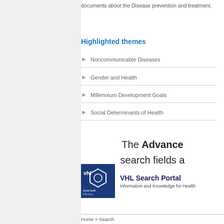documents about the Disease prevention and treatment.
Highlighted themes
Noncommunicable Diseases
Gender and Health
Millennium Development Goals
Social Determinants of Health
The Advanced search fields a
[Figure (logo): VHL Virtual Health Library logo — blue square with hexagon outline graphic and 'vhl virtual health library' text]
VHL Search Portal
Information and Knowledge for Health
Home > Search